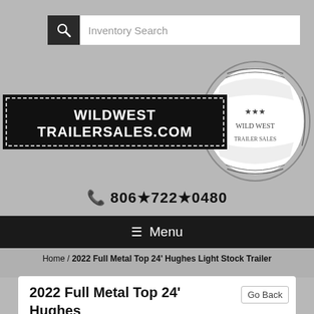[Figure (screenshot): Search bar with magnifying glass icon and 'Inventory Search' placeholder text]
[Figure (logo): Wild West Trailer Sales logo — black banner with ornate western-style text reading WILDWESTTRAILERSALES.COM inside a decorative oval badge]
📞 806★722★0480
☰ Menu
Home / 2022 Full Metal Top 24' Hughes Light Stock Trailer
2022 Full Metal Top 24' Hughes Light Stock Trailer
Go Back